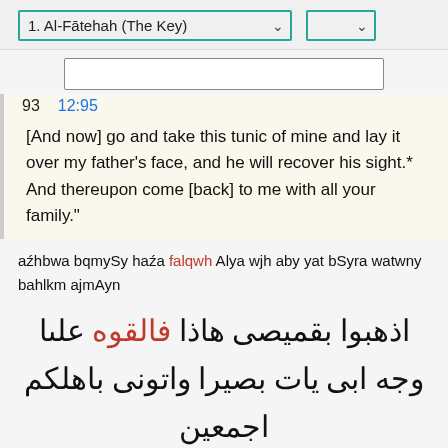1. Al-Fātehah (The Key)
[Figure (screenshot): Search input box]
93  12:95
[And now] go and take this tunic of mine and lay it over my father's face, and he will recover his sight.* And thereupon come [back] to me with all your family."
aźhbwa bqmySy haźa falqwh Alya wjh aby yat bSyra watwny bahlkm ajmAyn
اذهبوا بقميصى هاذا فالقوه علىا وجه ابى يات بصيرا واتونى باهلكم اجمعين
94  12:96